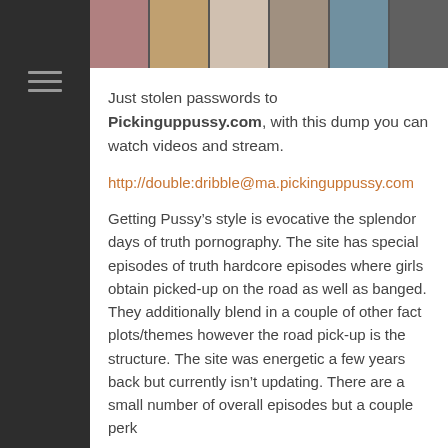[Figure (photo): Banner strip of thumbnail images of women across the top of the main content area]
Just stolen passwords to Pickinguppussy.com, with this dump you can watch videos and stream.
http://double:dribble@ma.pickinguppussy.com
Getting Pussy’s style is evocative the splendor days of truth pornography. The site has special episodes of truth hardcore episodes where girls obtain picked-up on the road as well as banged. They additionally blend in a couple of other fact plots/themes however the road pick-up is the structure. The site was energetic a few years back but currently isn’t updating. There are a small number of overall episodes but a couple perk